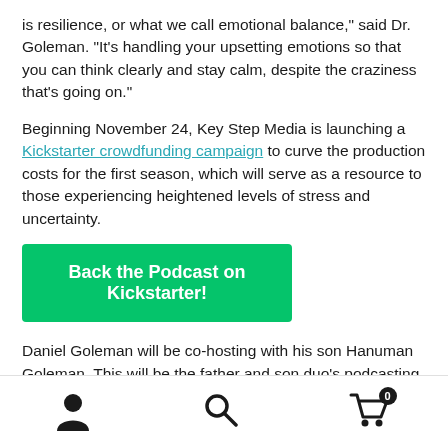is resilience, or what we call emotional balance," said Dr. Goleman. "It's handling your upsetting emotions so that you can think clearly and stay calm, despite the craziness that's going on."
Beginning November 24, Key Step Media is launching a Kickstarter crowdfunding campaign to curve the production costs for the first season, which will serve as a resource to those experiencing heightened levels of stress and uncertainty.
Back the Podcast on Kickstarter!
Daniel Goleman will be co-hosting with his son Hanuman Goleman. This will be the father and son duo's podcasting debut, propelled by their desire to share the emotional intelligence tools with as many people as possible and help them meet the challenges of the day.
Navigation icons: user, search, cart (0)